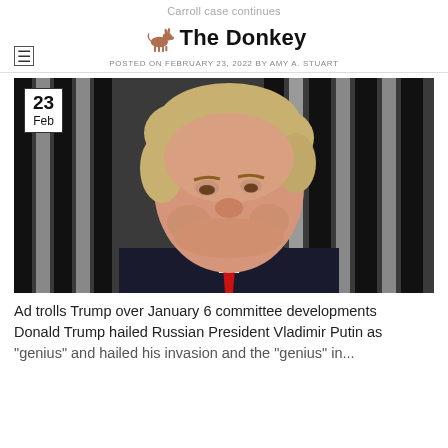Carroll case continues
The Donkey
POSTED ON FEBRUARY 23, 2022 BY AMY A. STUART
[Figure (photo): Close-up photograph of Donald Trump in a dark suit with red tie, against a background of vertical black and white stripes (fence/wall). A date badge showing '23 Feb' is overlaid in the top-left corner.]
Ad trolls Trump over January 6 committee developments Donald Trump hailed Russian President Vladimir Putin as "genius" and hailed his invasion and the "genius" in...